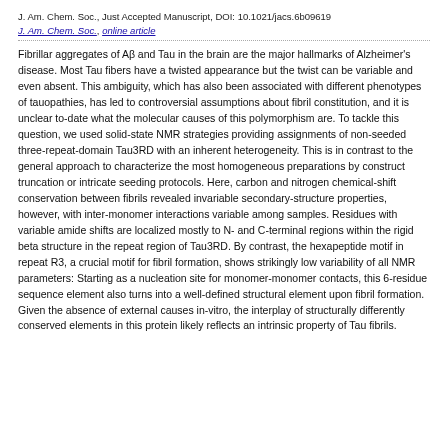J. Am. Chem. Soc., Just Accepted Manuscript, DOI: 10.1021/jacs.6b09619
J. Am. Chem. Soc., online article
Fibrillar aggregates of Aβ and Tau in the brain are the major hallmarks of Alzheimer's disease. Most Tau fibers have a twisted appearance but the twist can be variable and even absent. This ambiguity, which has also been associated with different phenotypes of tauopathies, has led to controversial assumptions about fibril constitution, and it is unclear to-date what the molecular causes of this polymorphism are. To tackle this question, we used solid-state NMR strategies providing assignments of non-seeded three-repeat-domain Tau3RD with an inherent heterogeneity. This is in contrast to the general approach to characterize the most homogeneous preparations by construct truncation or intricate seeding protocols. Here, carbon and nitrogen chemical-shift conservation between fibrils revealed invariable secondary-structure properties, however, with inter-monomer interactions variable among samples. Residues with variable amide shifts are localized mostly to N- and C-terminal regions within the rigid beta structure in the repeat region of Tau3RD. By contrast, the hexapeptide motif in repeat R3, a crucial motif for fibril formation, shows strikingly low variability of all NMR parameters: Starting as a nucleation site for monomer-monomer contacts, this 6-residue sequence element also turns into a well-defined structural element upon fibril formation. Given the absence of external causes in-vitro, the interplay of structurally differently conserved elements in this protein likely reflects an intrinsic property of Tau fibrils.